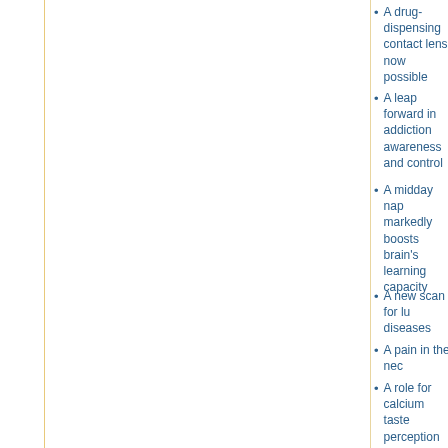A drug-dispensing contact lens now possible
A leap forward in addiction awareness and control
A midday nap markedly boosts brain's learning capacity
A new scan for lu diseases
A pain in the nec
A role for calcium taste perception
ACR statement on airport full-body scanners and radiation
Acupuncture calm highly anxious de patients
Acupuncture-Like Treatments Impro Outcom...